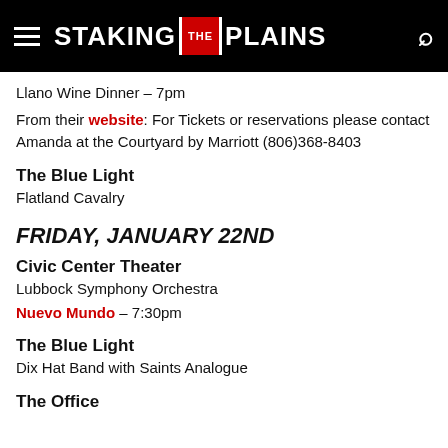STAKING THE PLAINS
Llano Wine Dinner – 7pm
From their website: For Tickets or reservations please contact Amanda at the Courtyard by Marriott (806)368-8403
The Blue Light
Flatland Cavalry
FRIDAY, JANUARY 22ND
Civic Center Theater
Lubbock Symphony Orchestra
Nuevo Mundo – 7:30pm
The Blue Light
Dix Hat Band with Saints Analogue
The Office